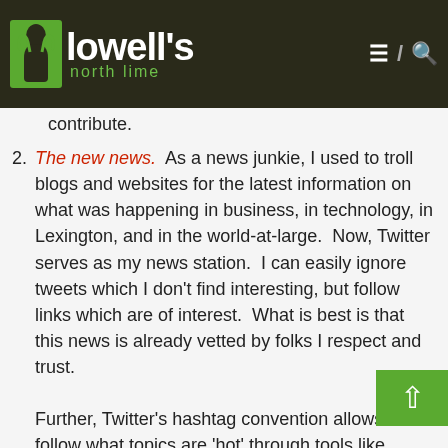lowell's north lime
contribute.
2. The new news.  As a news junkie, I used to troll blogs and websites for the latest information on what was happening in business, in technology, in Lexington, and in the world-at-large.  Now, Twitter serves as my news station.  I can easily ignore tweets which I don't find interesting, but follow links which are of interest.  What is best is that this news is already vetted by folks I respect and trust.
Further, Twitter's hashtag convention allows me to follow what topics are 'hot' through tools like TwitScoop, which is enabled by default in TweetDeck (see my last post if this last passage looks like Greek to you).  The news on Twitter often unfolds long before mainstream media picks it up.  In Ace Weekly (@AceWeekly), Kakie Urch (@ProfKakie) put together an excellent analysis of how Twitter acted as the new news in the #amazonfail case, including how long it took traditional media to even notice, while the twitterverse was exploding in outrage.  (As I write this, a friend of